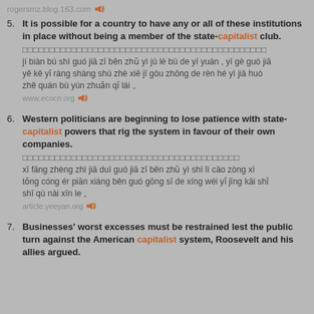rogersmz.blog.163.com
5. It is possible for a country to have any or all of these institutions in place without being a member of the state-capitalist club.
Chinese characters (romanization): jí biàn bú shì guó jiā zī běn zhǔ yì jù lè bù de yī yuán , yī gè guó jiā yě kě yǐ ràng shàng shù zhè xiē jī gòu zhōng de rèn hé yì jiā huò zhě quán bù yùn zhuǎn qǐ lái 。
www.ecocn.org
6. Western politicians are beginning to lose patience with state-capitalist powers that rig the system in favour of their own companies.
Chinese characters (romanization): xī fāng zhèng zhì jiā duì guó jiā zī běn zhǔ yì shì lì cāo zòng xì tǒng cóng ér piān xiàng běn guó gōng sī de xíng wéi yǐ jīng kāi shǐ shī qù nài xīn le 。
article.yeeyan.org
7. Businesses' worst excesses must be restrained lest the public turn against the American capitalist system, Roosevelt and his allies argued.